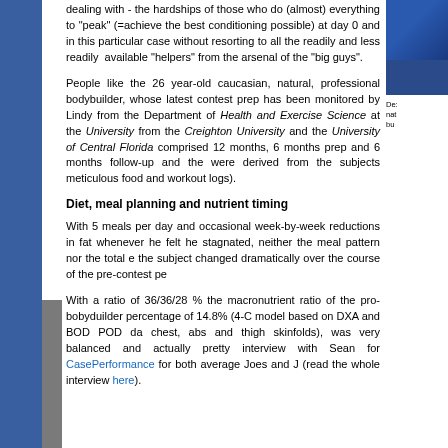dealing with - the hardships of those who do (almost) everything to "peak" (=achieve the best conditioning possible) at day 0 and in this particular case without resorting to all the readily and less readily  available "helpers" from the arsenal of the "big guys".
People like the 26 year-old caucasian, natural, professional bodybuilder, whose latest contest prep has been monitored by Lindy from the Department of Health and Exercise Science at the University from the Creighton University and the University of Central Florida comprised 12 months, 6 months prep and 6 months follow-up and the were derived from the subjects meticulous food and workout logs).
Diet, meal planning and nutrient timing
With 5 meals per day and occasional week-by-week reductions in fat whenever he felt he stagnated, neither the meal pattern nor the total e the subject changed dramatically over the course of the pre-contest pe
With a ratio of 36/36/28 % the macronutrient ratio of the pro-bobyduilder percentage of 14.8% (4-C model based on DXA and BOD POD da chest, abs and thigh skinfolds), was very balanced and actually pretty interview with Sean for CasePerformance for both average Joes and J (read the whole interview here).